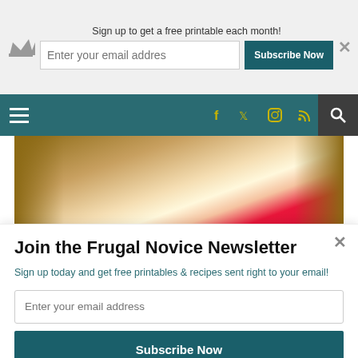Sign up to get a free printable each month!
[Figure (screenshot): Website navigation bar with hamburger menu, social media icons (Facebook, Twitter, Instagram, RSS), and search icon on teal background]
[Figure (photo): Baby in pink/red outfit lying on textured background with watermark frugalnovice.com]
If you want to see the other things we
Join the Frugal Novice Newsletter
Sign up today and get free printables & recipes sent right to your email!